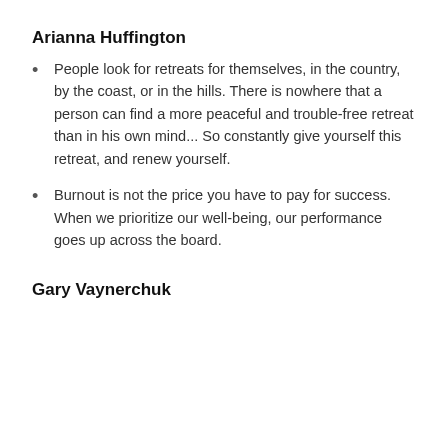Arianna Huffington
People look for retreats for themselves, in the country, by the coast, or in the hills. There is nowhere that a person can find a more peaceful and trouble-free retreat than in his own mind... So constantly give yourself this retreat, and renew yourself.
Burnout is not the price you have to pay for success. When we prioritize our well-being, our performance goes up across the board.
Gary Vaynerchuk